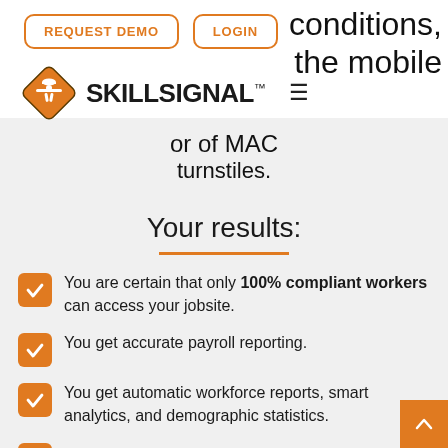REQUEST DEMO | LOGIN | conditions, the mobile
[Figure (logo): SkillSignal logo with orange diamond construction worker icon and bold SKILLSIGNAL wordmark]
or of MAC turnstiles.
Your results:
You are certain that only 100% compliant workers can access your jobsite.
You get accurate payroll reporting.
You get automatic workforce reports, smart analytics, and demographic statistics.